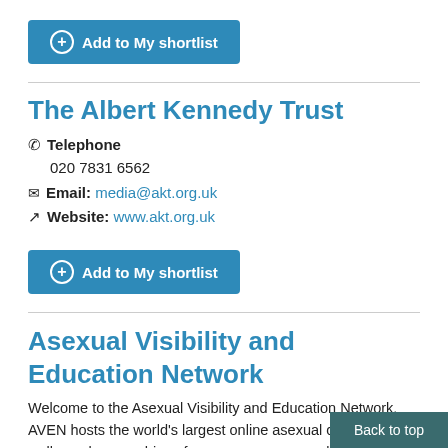Add to My shortlist
The Albert Kennedy Trust
Telephone
020 7831 6562
Email: media@akt.org.uk
Website: www.akt.org.uk
Add to My shortlist
Asexual Visibility and Education Network
Welcome to the Asexual Visibility and Education Network. AVEN hosts the world's largest online asexual co… well as a large archive of resources on asexuality…